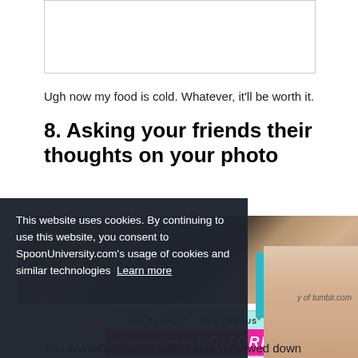[Figure (photo): White rectangular placeholder image with border]
Ugh now my food is cold. Whatever, it’ll be worth it.
8. Asking your friends their thoughts on your photo
[Figure (photo): Screenshot from TV show featuring a woman with dark hair and glasses peeking over something, shelves with bottles in background]
[Figure (infographic): Her Campus advertisement banner: BECOME A LEADER IN EDITORIAL]
This website uses cookies. By continuing to use this website, you consent to SpoonUniversity.com’s usage of cookies and similar technologies  Learn more
[Figure (photo): Got it! button (teal/cyan colored)]
y of tumblr.com
You immediately send all of your narrowed down